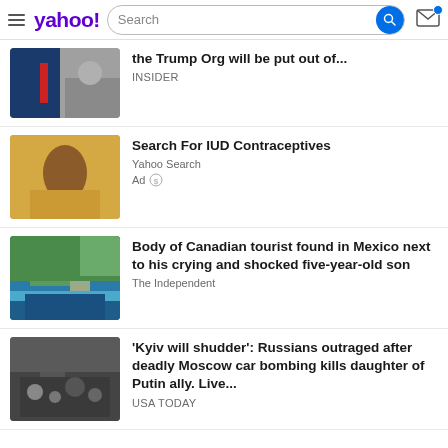yahoo! Search
the Trump Org will be put out of... INSIDER
Search For IUD Contraceptives
Yahoo Search
Ad
Body of Canadian tourist found in Mexico next to his crying and shocked five-year-old son
The Independent
'Kyiv will shudder': Russians outraged after deadly Moscow car bombing kills daughter of Putin ally. Live...
USA TODAY